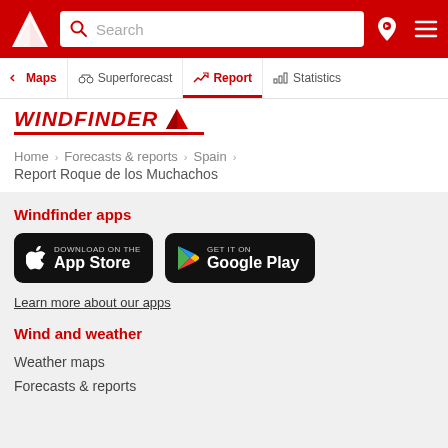Windfinder - Search bar navigation
Maps | Superforecast | Report | Statistics
WINDFINDER
Home > Forecasts & reports > Spain
Report Roque de los Muchachos
Windfinder apps
[Figure (logo): Download on the App Store button (black rounded rectangle with Apple logo)]
[Figure (logo): GET IT ON Google Play button (black rounded rectangle with Google Play triangle logo)]
Learn more about our apps
Wind and weather
Weather maps
Forecasts & reports